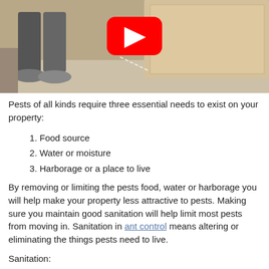[Figure (screenshot): A photo showing legs of a person spraying pesticide along the base of a building exterior, with a YouTube play button overlay in the center.]
Pests of all kinds require three essential needs to exist on your property:
1. Food source
2. Water or moisture
3. Harborage or a place to live
By removing or limiting the pests food, water or harborage you will help make your property less attractive to pests. Making sure you maintain good sanitation will help limit most pests from moving in. Sanitation in ant control means altering or eliminating the things pests need to live.
Sanitation: